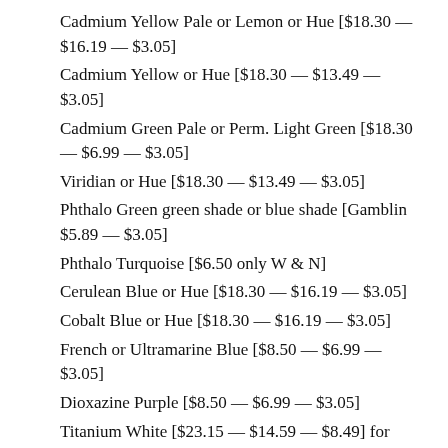Cadmium Yellow Pale or Lemon or Hue [$18.30 — $16.19 — $3.05]
Cadmium Yellow or Hue [$18.30 — $13.49 — $3.05]
Cadmium Green Pale or Perm. Light Green [$18.30 — $6.99 — $3.05]
Viridian or Hue [$18.30 — $13.49 — $3.05]
Phthalo Green green shade or blue shade [Gamblin $5.89 — $3.05]
Phthalo Turquoise [$6.50 only W & N]
Cerulean Blue or Hue [$18.30 — $16.19 — $3.05]
Cobalt Blue or Hue [$18.30 — $16.19 — $3.05]
French or Ultramarine Blue [$8.50 — $6.99 — $3.05]
Dioxazine Purple [$8.50 — $6.99 — $3.05]
Titanium White [$23.15 — $14.59 — $8.49] for